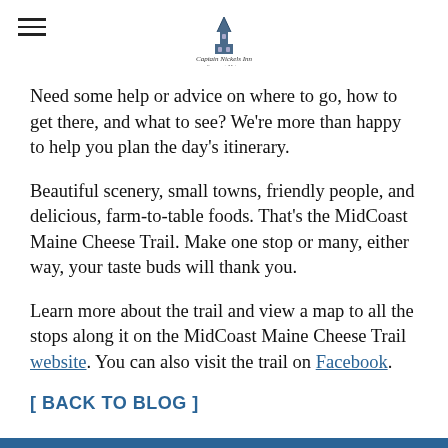Captain Nickels Inn — Searsport, Maine
Need some help or advice on where to go, how to get there, and what to see? We're more than happy to help you plan the day's itinerary.
Beautiful scenery, small towns, friendly people, and delicious, farm-to-table foods. That's the MidCoast Maine Cheese Trail. Make one stop or many, either way, your taste buds will thank you.
Learn more about the trail and view a map to all the stops along it on the MidCoast Maine Cheese Trail website. You can also visit the trail on Facebook.
[ BACK TO BLOG ]